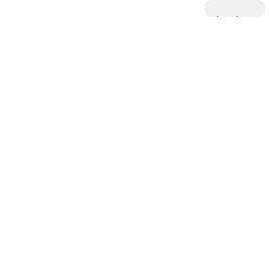brother which of course causes severe problems. Thanks

Sent from my iPad

>
Like
[Figure (illustration): Purple circular avatar with a snowflake/diamond geometric pattern]
martinwicks
February 8, 2014 at 4:47 pm
This household is statutorily over-crowded. She should have a three bed at least, possibly 4 depending on the disability.